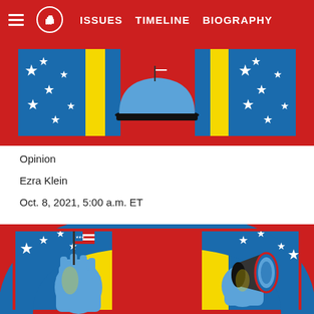ISSUES  TIMELINE  BIOGRAPHY
[Figure (illustration): Top portion of a comic-book style patriotic illustration showing stars-and-stripes pattern with blue, yellow, and red colors, featuring a serving bell/cloche in the center on a striped red/blue background]
Opinion
Ezra Klein
Oct. 8, 2021, 5:00 a.m. ET
[Figure (illustration): Bottom portion of a comic-book style patriotic illustration showing a blue fist holding an American flag on the left and a hand holding a megaphone on the right, with stars-and-stripes border and bold red, yellow and blue colors]